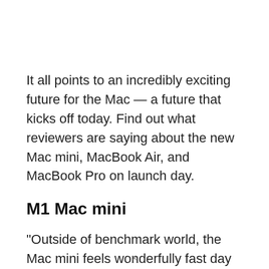It all points to an incredibly exciting future for the Mac — a future that kicks off today. Find out what reviewers are saying about the new Mac mini, MacBook Air, and MacBook Pro on launch day.
M1 Mac mini
“Outside of benchmark world, the Mac mini feels wonderfully fast day to day,” wrote Chris Welch for The Verge. “Once Intel-optimized apps are open, performance feels indistinguishable from how they